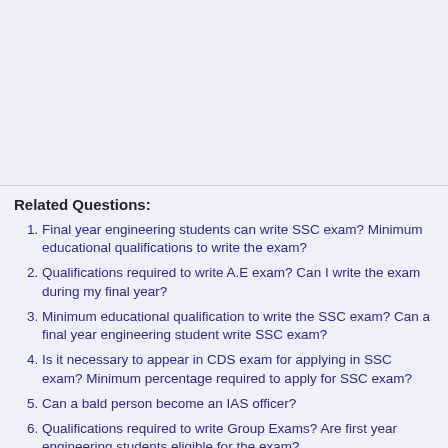[Figure (other): Blank grayish-blue placeholder area at the top of the page]
Related Questions:
Final year engineering students can write SSC exam? Minimum educational qualifications to write the exam?
Qualifications required to write A.E exam? Can I write the exam during my final year?
Minimum educational qualification to write the SSC exam? Can a final year engineering student write SSC exam?
Is it necessary to appear in CDS exam for applying in SSC exam? Minimum percentage required to apply for SSC exam?
Can a bald person become an IAS officer?
Qualifications required to write Group Exams? Are first year engineering students eligible for the exam?
How to become a Vigilance Officer?